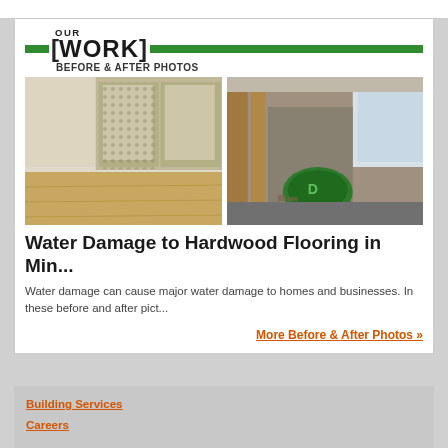OUR [WORK] BEFORE & AFTER PHOTOS
[Figure (photo): Before photo: empty room with hardwood floor and decorative curtains on window]
[Figure (photo): After photo: water-damaged room showing exposed wall structure with green industrial dryer fan on floor]
Water Damage to Hardwood Flooring in Min...
Water damage can cause major water damage to homes and businesses. In these before and after pict...
More Before & After Photos »
Building Services
Careers